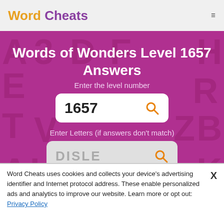Word Cheats
Words of Wonders Level 1657 Answers
Enter the level number
1657
Enter Letters (if answers don't match)
DISLE
Word Cheats uses cookies and collects your device's advertising identifier and Internet protocol address. These enable personalized ads and analytics to improve our website. Learn more or opt out: Privacy Policy